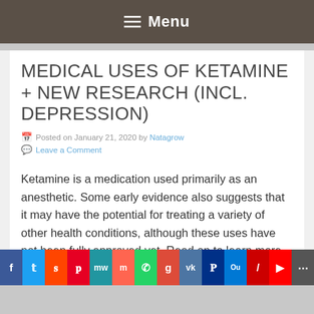Menu
MEDICAL USES OF KETAMINE + NEW RESEARCH (INCL. DEPRESSION)
Posted on January 21, 2020 by Natagrow
Leave a Comment
Ketamine is a medication used primarily as an anesthetic. Some early evidence also suggests that it may have the potential for treating a variety of other health conditions, although these uses have not been fully approved yet. Read on to learn more about the medical uses of and new research about this drug.